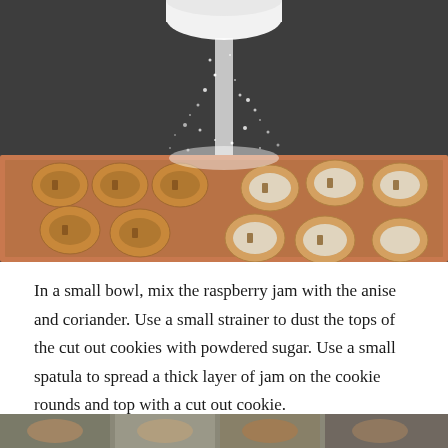[Figure (photo): Powdered sugar being sifted from a bowl onto a baking tray of ring-shaped sandwich cookies (linzer cookies). The left side of the tray shows unsugared cookies and the right side shows cookies dusted white with powdered sugar. Background is dark gray.]
In a small bowl, mix the raspberry jam with the anise and coriander. Use a small strainer to dust the tops of the cut out cookies with powdered sugar. Use a small spatula to spread a thick layer of jam on the cookie rounds and top with a cut out cookie.
[Figure (photo): Partial view of cookies at the bottom of the page (cropped).]